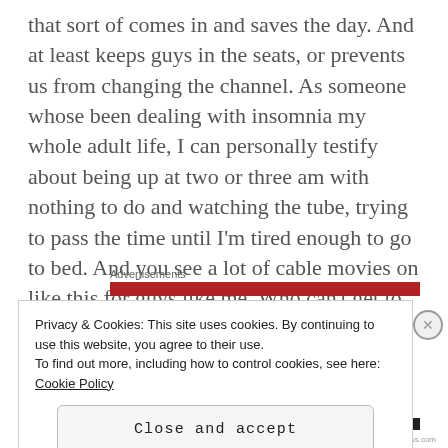that sort of comes in and saves the day. And at least keeps guys in the seats, or prevents us from changing the channel. As someone whose been dealing with insomnia my whole adult life, I can personally testify about being up at two or three am with nothing to do and watching the tube, trying to pass the time until I'm tired enough to go to bed. And you see a lot of cable movies on like this for guys like me. Who can't get to sleep, but perhaps looking to get off.
Advertisements
Privacy & Cookies: This site uses cookies. By continuing to use this website, you agree to their use.
To find out more, including how to control cookies, see here: Cookie Policy
Close and accept